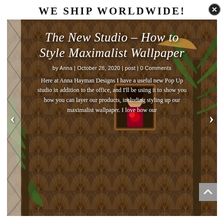WE SHIP WORLDWIDE!
[Figure (photo): Blog post carousel slide showing a maximalist wallpapered room with tropical plants and art deco pattern. Title: The New Studio – How to Style Maximalist Wallpaper. By Anna, October 28, 2020. Excerpt of blog post text overlaid on the image.]
The New Studio – How to Style Maximalist Wallpaper
by Anna | October 28, 2020 | post | 0 Comments
Here at Anna Hayman Designs I have a useful new Pop Up studio in addition to the office, and I'll be using it to show you how you can layer our products, including styling up our maximalist wallpaper. I love how our